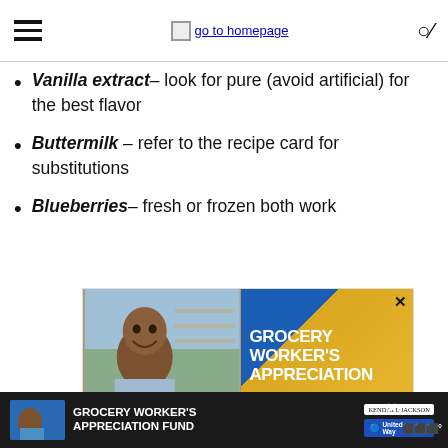go to homepage
Vanilla extract– look for pure (avoid artificial) for the best flavor
Buttermilk – refer to the recipe card for substitutions
Blueberries– fresh or frozen both work
[Figure (photo): Advertisement banner: Grocery Worker's Appreciation with photo of smiling man in grocery store]
[Figure (photo): Bottom ad bar: Grocery Worker's Appreciation Fund with Kendall-Jackson and United Way logos]